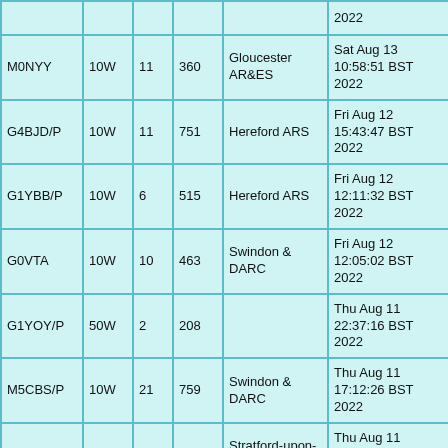| Callsign | Power | QSOs | Points | Club | Date/Time |
| --- | --- | --- | --- | --- | --- |
|  |  |  |  |  | 2022 |
| M0NYY | 10W | 11 | 360 | Gloucester AR&ES | Sat Aug 13 10:58:51 BST 2022 |
| G4BJD/P | 10W | 11 | 751 | Hereford ARS | Fri Aug 12 15:43:47 BST 2022 |
| G1YBB/P | 10W | 6 | 515 | Hereford ARS | Fri Aug 12 12:11:32 BST 2022 |
| G0VTA | 10W | 10 | 463 | Swindon & DARC | Fri Aug 12 12:05:02 BST 2022 |
| G1YOY/P | 50W | 2 | 208 |  | Thu Aug 11 22:37:16 BST 2022 |
| M5CBS/P | 10W | 21 | 759 | Swindon & DARC | Thu Aug 11 17:12:26 BST 2022 |
| G8FRS | 50W | 4 | 238 | Stratford-upon-Avon & DRS | Thu Aug 11 14:50:28 BST 2022 |
| G0RMG/P | 50W | 37 | 2305 | Redditch AR & CG | Thu Aug 11 13:15:21 BST 2022 |